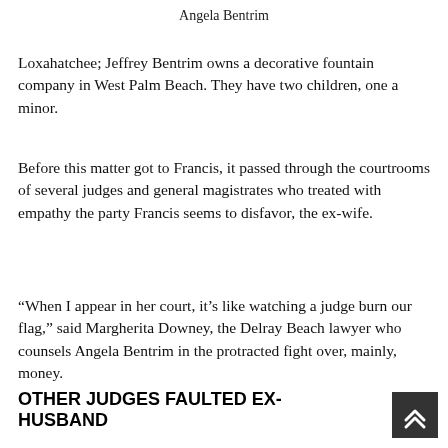Angela Bentrim
Loxahatchee; Jeffrey Bentrim owns a decorative fountain company in West Palm Beach. They have two children, one a minor.
Before this matter got to Francis, it passed through the courtrooms of several judges and general magistrates who treated with empathy the party Francis seems to disfavor, the ex-wife.
“When I appear in her court, it’s like watching a judge burn our flag,” said Margherita Downey, the Delray Beach lawyer who counsels Angela Bentrim in the protracted fight over, mainly, money.
OTHER JUDGES FAULTED EX-HUSBAND